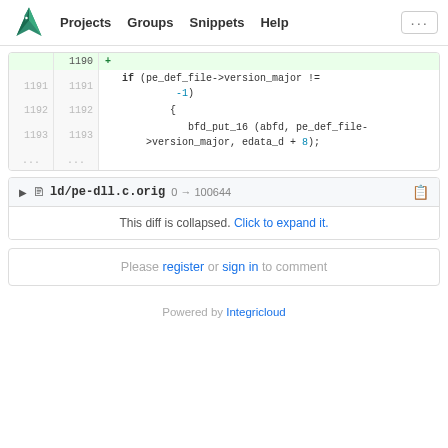[Figure (screenshot): GitLab-style navigation bar with logo (eagle/hawk), Projects, Groups, Snippets, Help links, and ellipsis button]
Code diff showing lines 1190-1193 with additions: if (pe_def_file->version_major != -1) { bfd_put_16 (abfd, pe_def_file->version_major, edata_d + 8); }
ld/pe-dll.c.orig 0 → 100644 — This diff is collapsed. Click to expand it.
Please register or sign in to comment
Powered by Integricloud